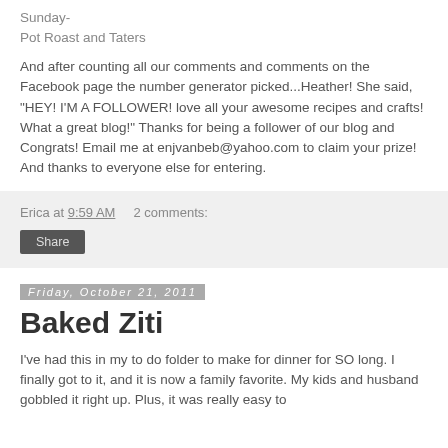Sunday-
Pot Roast and Taters
And after counting all our comments and comments on the Facebook page the number generator picked...Heather!  She said, "HEY! I'M A FOLLOWER! love all your awesome recipes and crafts! What a great blog!"  Thanks for being a follower of our blog and Congrats!  Email me at enjvanbeb@yahoo.com to claim your prize!  And thanks to everyone else for entering.
Erica at 9:59 AM    2 comments:
Share
Friday, October 21, 2011
Baked Ziti
I've had this in my to do folder to make for dinner for SO long.  I finally got to it, and it is now a family favorite.  My kids and husband gobbled it right up.  Plus, it was really easy to